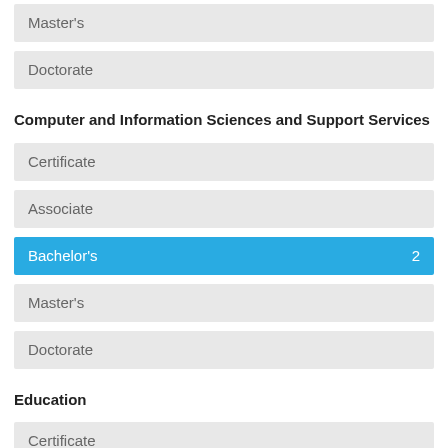Master's
Doctorate
Computer and Information Sciences and Support Services
Certificate
Associate
Bachelor's 2
Master's
Doctorate
Education
Certificate
Associate
Bachelor's 3
Master's 2
Doctorate